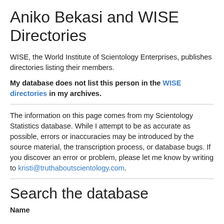Aniko Bekasi and WISE Directories
WISE, the World Institute of Scientology Enterprises, publishes directories listing their members.
My database does not list this person in the WISE directories in my archives.
The information on this page comes from my Scientology Statistics database. While I attempt to be as accurate as possible, errors or inaccuracies may be introduced by the source material, the transcription process, or database bugs. If you discover an error or problem, please let me know by writing to kristi@truthaboutscientology.com.
Search the database
Name